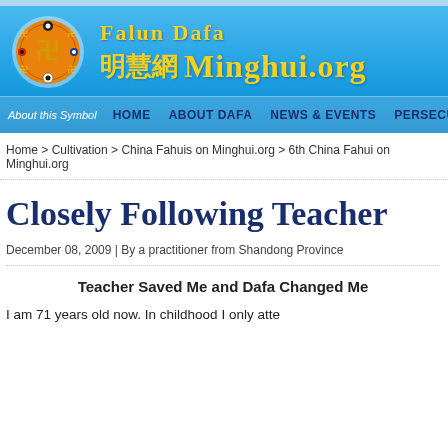[Figure (logo): Falun Dafa / Minghui.org website header banner with logo circle, Chinese characters, and navigation links]
Home > Cultivation > China Fahuis on Minghui.org > 6th China Fahui on Minghui.org
Closely Following Teacher
December 08, 2009 | By a practitioner from Shandong Province
Teacher Saved Me and Dafa Changed Me
I am 71 years old now. In childhood I only atte